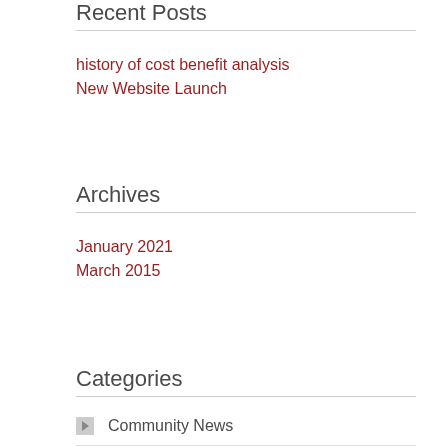Recent Posts
history of cost benefit analysis
New Website Launch
Archives
January 2021
March 2015
Categories
Community News
Harborside Apartments
Lake Park Property
New Openings
Pebble Park